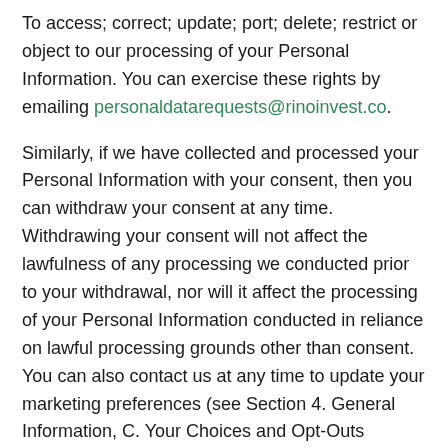To access; correct; update; port; delete; restrict or object to our processing of your Personal Information. You can exercise these rights by emailing personaldatarequests@rinoinvest.co.
Similarly, if we have collected and processed your Personal Information with your consent, then you can withdraw your consent at any time. Withdrawing your consent will not affect the lawfulness of any processing we conducted prior to your withdrawal, nor will it affect the processing of your Personal Information conducted in reliance on lawful processing grounds other than consent. You can also contact us at any time to update your marketing preferences (see Section 4. General Information, C. Your Choices and Opt-Outs below).